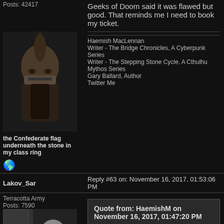Posts: 42417
Geeks of Doom said it was flawed but good. That reminds me I need to book my ticket.
[Figure (photo): Avatar photo of a bald man with a mohawk and beard wearing glasses, dark background]
the Confederate flag underneath the stone in my class ring
Haemish MacLennan
Writer - The Bridge Chronicles, A Cyberpunk Series
Writer - The Stepping Stone Cycle, A Cthulhu Mythos Series
Gary Ballard, Author
Twitter Me
Lakov_Sa
Terracotta Army
Posts: 7590
Reply #63 on: November 16, 2017, 01:53:06 PM
Quote from: HaemishM on November 16, 2017, 01:47:20 PM
Geeks of Doom said it was flawed but good. That reminds me I need to book my ticket.
[Figure (photo): Black and white avatar photo of a person seated at a desk]
People said the same with BvS so take that for what it's worth.